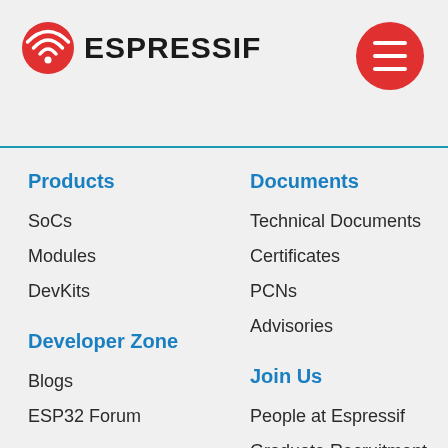[Figure (logo): Espressif logo: red circular WiFi/signal icon followed by bold text ESPRESSIF]
[Figure (other): Red circular hamburger menu button with three white horizontal lines]
Products
SoCs
Modules
DevKits
Documents
Technical Documents
Certificates
PCNs
Advisories
Developer Zone
Blogs
ESP32 Forum
Join Us
People at Espressif
Graduate Recruitment